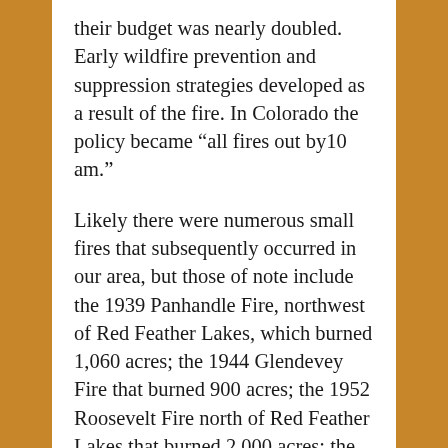their budget was nearly doubled. Early wildfire prevention and suppression strategies developed as a result of the fire. In Colorado the policy became “all fires out by10 am.”
Likely there were numerous small fires that subsequently occurred in our area, but those of note include the 1939 Panhandle Fire, northwest of Red Feather Lakes, which burned 1,060 acres; the 1944 Glendevey Fire that burned 900 acres; the 1952 Roosevelt Fire north of Red Feather Lakes that burned 2,000 acres; the 1958 Deadman